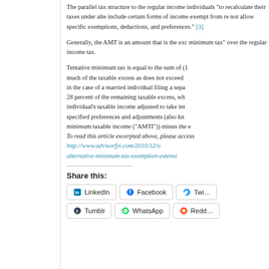The parallel tax structure to the regular income individuals "to recalculate their taxes under alte include certain forms of income exempt from re not allow specific exemptions, deductions, and preferences." [3]
Generally, the AMT is an amount that is the exc minimum tax" over the regular income tax.
Tentative minimum tax is equal to the sum of (1 much of the taxable excess as does not exceed in the case of a married individual filing a sepa 28 percent of the remaining taxable excess, wh individual's taxable income adjusted to take int specified preferences and adjustments (also kn minimum taxable income ("AMTI")) minus the e To read this article excerpted above, please access http://www.advisorfyi.com/2010/12/o alternative-minimum-tax-exemption-extensi
Share this: